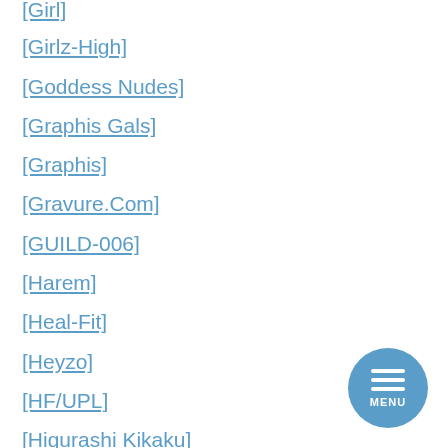[Girl]
[Girlz-High]
[Goddess Nudes]
[Graphis Gals]
[Graphis]
[Gravure.Com]
[GUILD-006]
[Harem]
[Heal-Fit]
[Heyzo]
[HF/UPL]
[Higurashi Kikaku]
[HuaYang]